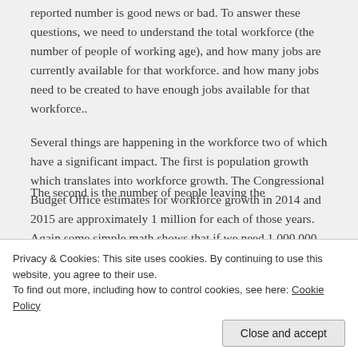reported number is good news or bad. To answer these questions, we need to understand the total workforce (the number of people of working age), and how many jobs are currently available for that workforce. and how many jobs need to be created to have enough jobs available for that workforce..
Several things are happening in the workforce two of which have a significant impact. The first is population growth which translates into workforce growth. The Congressional Budget Office estimates for workforce growth in 2014 and 2015 are approximately 1 million for each of those years. Again some simple math shows that if we need 1,000,000 new jobs per year, then the economy needs
The second is the number of people leaving the
Privacy & Cookies: This site uses cookies. By continuing to use this website, you agree to their use.
To find out more, including how to control cookies, see here: Cookie Policy